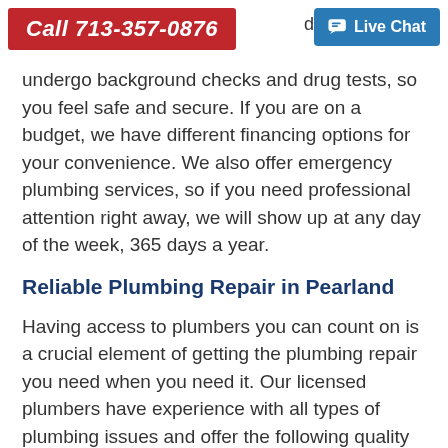Call 713-357-0876 | d all of our tec | Live Chat
undergo background checks and drug tests, so you feel safe and secure. If you are on a budget, we have different financing options for your convenience. We also offer emergency plumbing services, so if you need professional attention right away, we will show up at any day of the week, 365 days a year.
Reliable Plumbing Repair in Pearland
Having access to plumbers you can count on is a crucial element of getting the plumbing repair you need when you need it. Our licensed plumbers have experience with all types of plumbing issues and offer the following quality services:
Drain services and repair
Sewer and water line repair